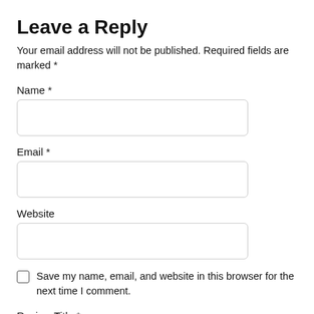Leave a Reply
Your email address will not be published. Required fields are marked *
Name *
Email *
Website
Save my name, email, and website in this browser for the next time I comment.
Review Title *